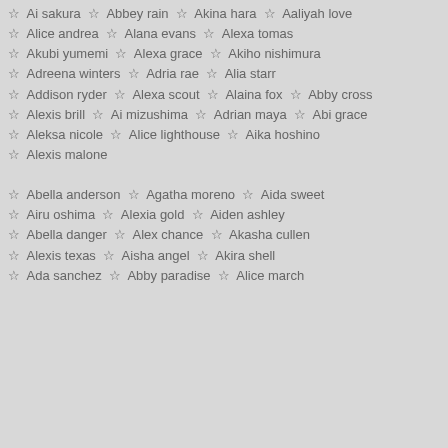☆ Ai sakura ☆ Abbey rain ☆ Akina hara ☆ Aaliyah love
☆ Alice andrea ☆ Alana evans ☆ Alexa tomas
☆ Akubi yumemi ☆ Alexa grace ☆ Akiho nishimura
☆ Adreena winters ☆ Adria rae ☆ Alia starr
☆ Addison ryder ☆ Alexa scout ☆ Alaina fox ☆ Abby cross
☆ Alexis brill ☆ Ai mizushima ☆ Adrian maya ☆ Abi grace
☆ Aleksa nicole ☆ Alice lighthouse ☆ Aika hoshino
☆ Alexis malone
☆ Abella anderson ☆ Agatha moreno ☆ Aida sweet
☆ Airu oshima ☆ Alexia gold ☆ Aiden ashley
☆ Abella danger ☆ Alex chance ☆ Akasha cullen
☆ Alexis texas ☆ Aisha angel ☆ Akira shell
☆ Ada sanchez ☆ Abby paradise ☆ Alice march